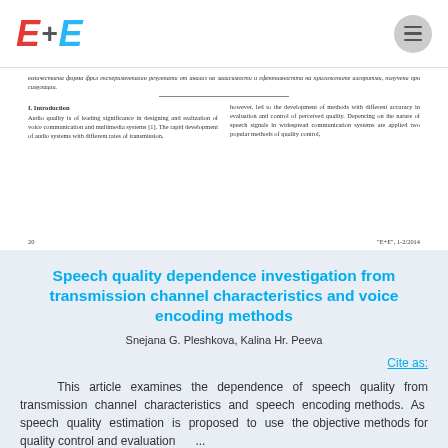E+E logo and navigation bar
количествена форма фрьз експерименталин резултати от анализ на зависимости и ефективността на приложените алгоритми, получени при симулации.
I. Introduction
Audio quality is of leading significance in designing and realization of voice communication and multimedia systems [1]. The rapid development of audio systems with different rates of transmission,
however, led to the development of methods with different accuracy in evaluation and control of perceived quality. Depencing on the nature of speech signals in widespread communication systems are applied two popular methods of quality control,
20	"E+E", 1-2/2014
Speech quality dependence investigation from transmission channel characteristics and voice encoding methods
Snejana G. Pleshkova, Kalina Hr. Peeva
Cite as:
This article examines the dependence of speech quality from transmission channel characteristics and speech encoding methods. As speech quality estimation is proposed to use the objective methods for quality control and evaluation ...
read more